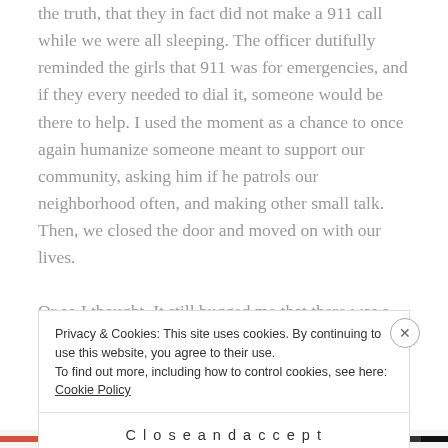the truth, that they in fact did not make a 911 call while we were all sleeping. The officer dutifully reminded the girls that 911 was for emergencies, and if they every needed to dial it, someone would be there to help. I used the moment as a chance to once again humanize someone meant to support our community, asking him if he patrols our neighborhood often, and making other small talk. Then, we closed the door and moved on with our lives.

Or so I thought. It still bugged me that there was a 911 call placed and we didn't know the source of it. What if
Privacy & Cookies: This site uses cookies. By continuing to use this website, you agree to their use.
To find out more, including how to control cookies, see here: Cookie Policy
Close and accept